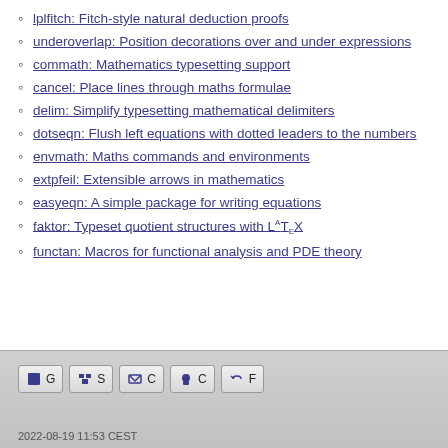lplfitch: Fitch-style natural deduction proofs
underoverlap: Position decorations over and under expressions
commath: Mathematics typesetting support
cancel: Place lines through maths formulae
delim: Simplify typesetting mathematical delimiters
dotseqn: Flush left equations with dotted leaders to the numbers
envmath: Maths commands and environments
extpfeil: Extensible arrows in mathematics
easyeqn: A simple package for writing equations
faktor: Typeset quotient structures with LaTeX
functan: Macros for functional analysis and PDE theory
2022-08-19 11:53 CEST